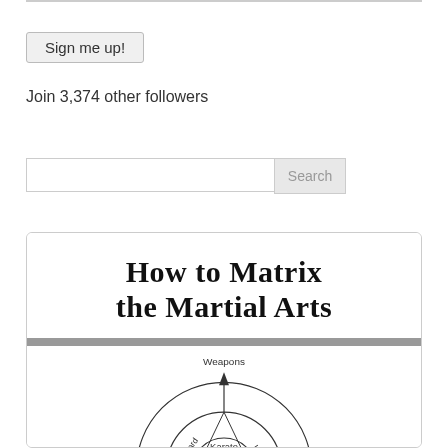Sign me up!
Join 3,374 other followers
Search
[Figure (other): Book cover image for 'How to Matrix the Martial Arts' showing a circular diagram with martial arts styles (Karate, Kung Fu, Tai Chi) arranged around a central Instructor circle, with axes labeled Weapons, Soft/Hard, Hard, and additional labels around the rings.]